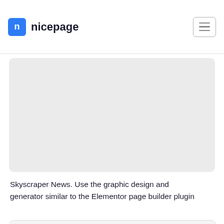nicepage
[Figure (screenshot): Gray placeholder card/thumbnail area with rounded corners]
Skyscraper News. Use the graphic design and generator similar to the Elementor page builder plugin
[Figure (screenshot): Bottom card showing a dark photo with a building/architecture and a yellow-outlined box containing white text 'About me and my work']